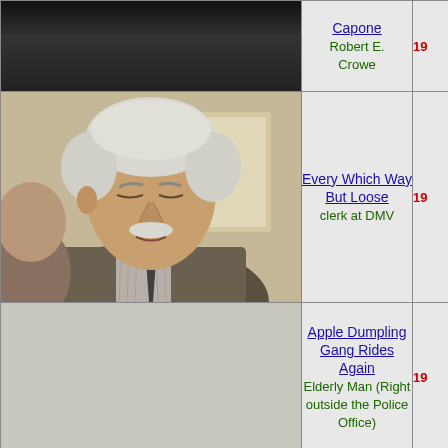[Figure (photo): Top row: dark/blurred image strip]
Capone
Robert E. Crowe
19
[Figure (photo): Middle row: elderly man with white hair and mustache, wearing plaid shirt and dark tie, looking slightly downward]
Every Which Way But Loose
clerk at DMV
19
[Figure (photo): Bottom row: light grey empty cell]
Apple Dumpling Gang Rides Again
Elderly Man (Right outside the Police Office)
19